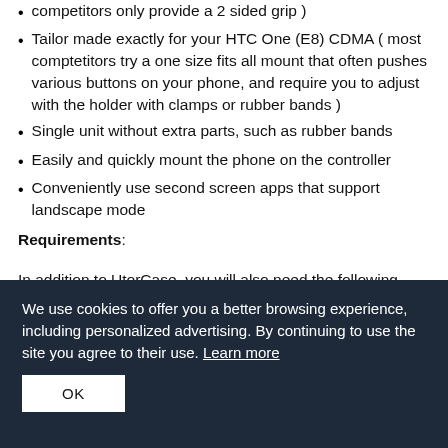competitors only provide a 2 sided grip )
Tailor made exactly for your HTC One (E8) CDMA ( most comptetitors try a one size fits all mount that often pushes various buttons on your phone, and require you to adjust with the holder with clamps or rubber bands )
Single unit without extra parts, such as rubber bands
Easily and quickly mount the phone on the controller
Conveniently use second screen apps that support landscape mode
Requirements:
In addition to UtorCase, you will also need the following
We use cookies to offer you a better browsing experience, including personalized advertising. By continuing to use the site you agree to their use. Learn more